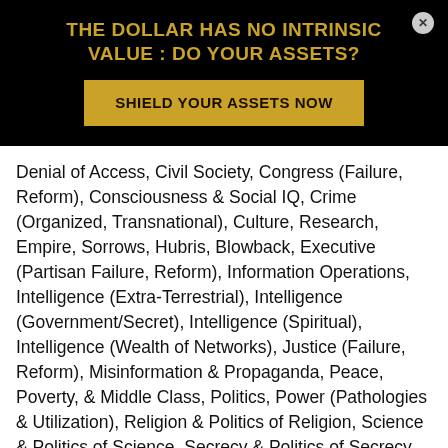THE DOLLAR HAS NO INTRINSIC VALUE : DO YOUR ASSETS?
SHIELD YOUR ASSETS NOW
Denial of Access, Civil Society, Congress (Failure, Reform), Consciousness & Social IQ, Crime (Organized, Transnational), Culture, Research, Empire, Sorrows, Hubris, Blowback, Executive (Partisan Failure, Reform), Information Operations, Intelligence (Extra-Terrestrial), Intelligence (Government/Secret), Intelligence (Spiritual), Intelligence (Wealth of Networks), Justice (Failure, Reform), Misinformation & Propaganda, Peace, Poverty, & Middle Class, Politics, Power (Pathologies & Utilization), Religion & Politics of Religion, Science & Politics of Science, Secrecy & Politics of Secrecy, Security (Including Immigration), Terrorism & Jihad, Threats (Emerging & Perennial), True Cost & Toxicity, Voices Lost (Indigenous, Gender, Poor, Marginalized), War &